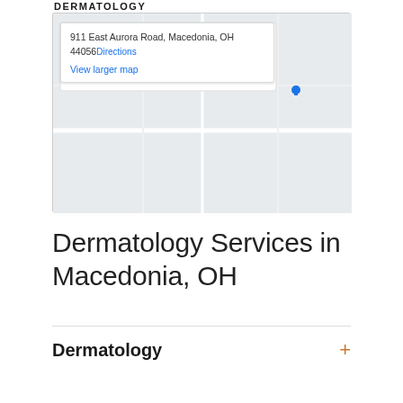DERMATOLOGY
[Figure (map): Embedded Google Maps view showing location at 911 East Aurora Road, Macedonia, OH 44056 with a Directions link and View larger map link]
911 East Aurora Road, Macedonia, OH 44056 Directions
View larger map
Dermatology Services in Macedonia, OH
Dermatology